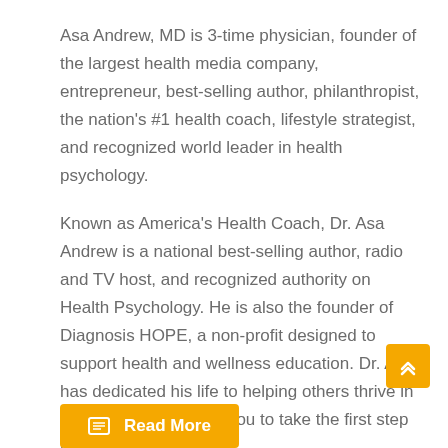Asa Andrew, MD is 3-time physician, founder of the largest health media company, entrepreneur, best-selling author, philanthropist, the nation's #1 health coach, lifestyle strategist, and recognized world leader in health psychology.
Known as America's Health Coach, Dr. Asa Andrew is a national best-selling author, radio and TV host, and recognized authority on Health Psychology. He is also the founder of Diagnosis HOPE, a non-profit designed to support health and wellness education. Dr. Asa has dedicated his life to helping others thrive in their health. We invite you to take the first step now.